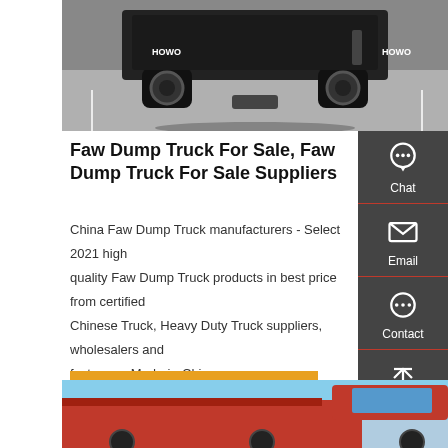[Figure (photo): Rear view of a HOWO branded heavy dump truck on a parking lot surface, showing the back axles and trailer hitch area]
Faw Dump Truck For Sale, Faw Dump Truck For Sale Suppliers
China Faw Dump Truck manufacturers - Select 2021 high quality Faw Dump Truck products in best price from certified Chinese Truck, Heavy Duty Truck suppliers, wholesalers and factory on Made-in-China.com
Get a Quote
[Figure (photo): Partial view of a red heavy dump truck with blue sky background, showing the cab and dump bed]